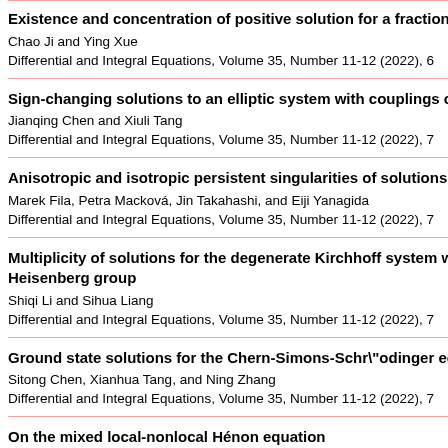Existence and concentration of positive solution for a fractional lo...
Chao Ji and Ying Xue
Differential and Integral Equations, Volume 35, Number 11-12 (2022), 6...
Sign-changing solutions to an elliptic system with couplings on K...
Jianqing Chen and Xiuli Tang
Differential and Integral Equations, Volume 35, Number 11-12 (2022), 7...
Anisotropic and isotropic persistent singularities of solutions of th...
Marek Fila, Petra Macková, Jin Takahashi, and Eiji Yanagida
Differential and Integral Equations, Volume 35, Number 11-12 (2022), 7...
Multiplicity of solutions for the degenerate Kirchhoff system with c... Heisenberg group
Shiqi Li and Sihua Liang
Differential and Integral Equations, Volume 35, Number 11-12 (2022), 7...
Ground state solutions for the Chern-Simons-Schr\"odinger equat...
Sitong Chen, Xianhua Tang, and Ning Zhang
Differential and Integral Equations, Volume 35, Number 11-12 (2022), 7...
On the mixed local-nonlocal Hénon equation